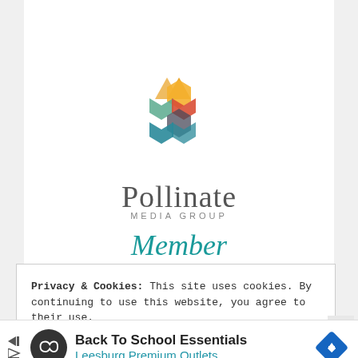[Figure (logo): Pollinate Media Group logo with colorful hexagonal flower shape above the text 'Pollinate MEDIA GROUP Member']
Privacy & Cookies: This site uses cookies. By continuing to use this website, you agree to their use.
To find out more, including how to control cookies, see here:
Cookie Policy
[Figure (other): Advertisement bar: Back To School Essentials - Leesburg Premium Outlets]